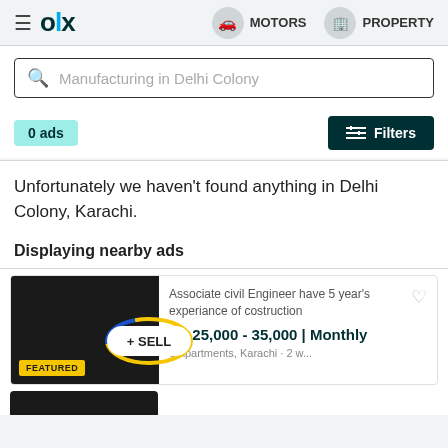OLX | MOTORS | PROPERTY
Manufacturing in Delhi Colony
0 ads | Filters
Unfortunately we haven't found anything in Delhi Colony, Karachi.
Displaying nearby ads
Associate civil Engineer have 5 year's experiance of costruction
Rs 25,000 - 35,000 | Monthly
Apartments, Karachi • 2 w...
FEATURED